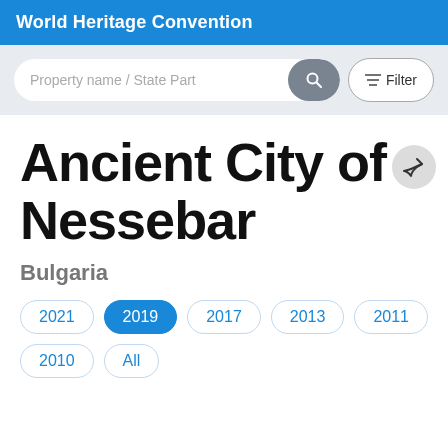World Heritage Convention
Property name / State Part
Ancient City of Nessebar
Bulgaria
2021
2019
2017
2013
2011
2010
All